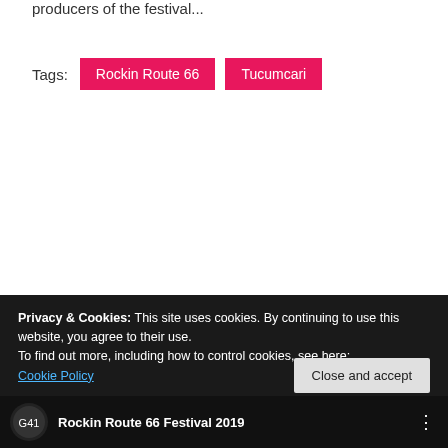producers of the festival...
Tags: Rockin Route 66  Tucumcari
READ MORE
OLDER POSTS
Privacy & Cookies: This site uses cookies. By continuing to use this website, you agree to their use.
To find out more, including how to control cookies, see here:
Cookie Policy
Close and accept
Rockin Route 66 Festival 2019